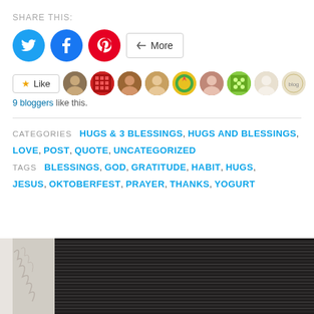SHARE THIS:
[Figure (infographic): Social share buttons: Twitter (blue circle), Facebook (blue circle), Pinterest (red circle), and a More button with share icon]
[Figure (infographic): Like button with star icon followed by 9 blogger avatar thumbnails]
9 bloggers like this.
CATEGORIES  HUGS & 3 BLESSINGS, HUGS AND BLESSINGS, LOVE, POST, QUOTE, UNCATEGORIZED  TAGS  BLESSINGS, GOD, GRATITUDE, HABIT, HUGS, JESUS, OKTOBERFEST, PRAYER, THANKS, YOGURT
[Figure (photo): Partial photo visible at bottom of page — left side shows light gray/white botanical image, right side shows dark textured material with horizontal striped pattern]